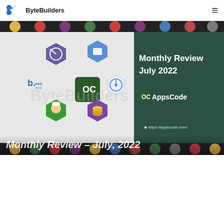ByteBuilders
[Figure (screenshot): Monthly Review July 2022 banner image with AppsCode logo and various app icons on a dark teal background]
Monthly Review - July, 2022